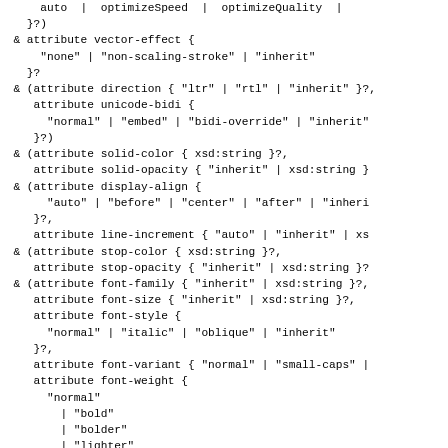auto | optimizeSpeed | optimizeQuality |
    }?)
& attribute vector-effect {
    "none" | "non-scaling-stroke" | "inherit"
  }?
& (attribute direction { "ltr" | "rtl" | "inherit" }?,
   attribute unicode-bidi {
     "normal" | "embed" | "bidi-override" | "inherit"
   }?)
& (attribute solid-color { xsd:string }?,
   attribute solid-opacity { "inherit" | xsd:string }
& (attribute display-align {
     "auto" | "before" | "center" | "after" | "inheri
   }?,
   attribute line-increment { "auto" | "inherit" | xs
& (attribute stop-color { xsd:string }?,
   attribute stop-opacity { "inherit" | xsd:string }?
& (attribute font-family { "inherit" | xsd:string }?,
   attribute font-size { "inherit" | xsd:string }?,
   attribute font-style {
     "normal" | "italic" | "oblique" | "inherit"
   }?,
   attribute font-variant { "normal" | "small-caps" |
   attribute font-weight {
     "normal"
     | "bold"
     | "bolder"
     | "lighter"
     | "inherit"
   },